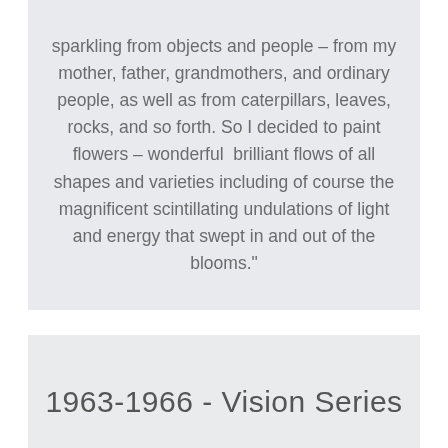sparkling from objects and people – from my mother, father, grandmothers, and ordinary people, as well as from caterpillars, leaves, rocks, and so forth. So I decided to paint flowers – wonderful  brilliant flows of all shapes and varieties including of course the magnificent scintillating undulations of light and energy that swept in and out of the blooms."
1963-1966 - Vision Series